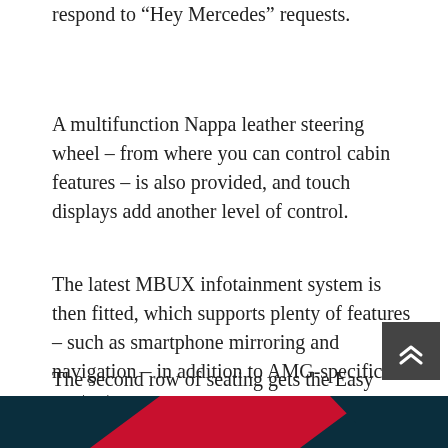respond to “Hey Mercedes” requests.
A multifunction Nappa leather steering wheel – from where you can control cabin features – is also provided, and touch displays add another level of control.
The latest MBUX infotainment system is then fitted, which supports plenty of features – such as smartphone mirroring and navigation – in addition to AMG-specific content.
The second row of seating gets the Easy Entry function, too, and will let the bench be adjusted completely electronically.
[Figure (illustration): Bottom portion of a graphic with red and dark navy/teal diagonal shapes, likely part of a car advertisement or article header image.]